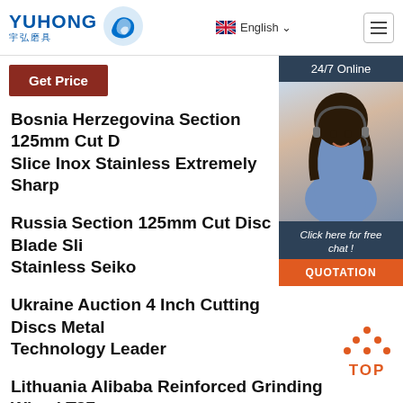[Figure (logo): Yuhong logo with blue wave icon and Chinese characters 宇弘磨具]
English
Get Price
[Figure (photo): 24/7 Online customer service chat widget with woman wearing headset, Click here for free chat!, QUOTATION button]
Bosnia Herzegovina Section 125mm Cut D... Slice Inox Stainless Extremely Sharp
Russia Section 125mm Cut Disc Blade Sli... Stainless Seiko
Ukraine Auction 4 Inch Cutting Discs Metal Technology Leader
[Figure (logo): TOP button with orange dots forming an arrow shape]
Lithuania Alibaba Reinforced Grinding Wheel T27